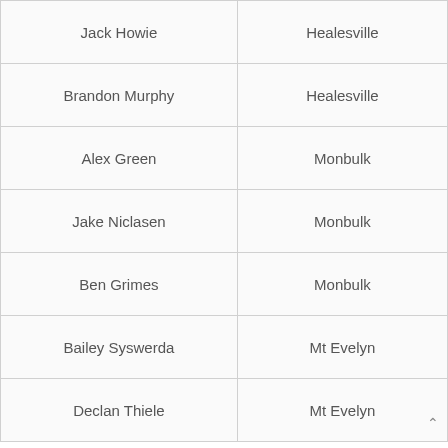| Jack Howie | Healesville |
| Brandon Murphy | Healesville |
| Alex Green | Monbulk |
| Jake Niclasen | Monbulk |
| Ben Grimes | Monbulk |
| Bailey Syswerda | Mt Evelyn |
| Declan Thiele | Mt Evelyn |